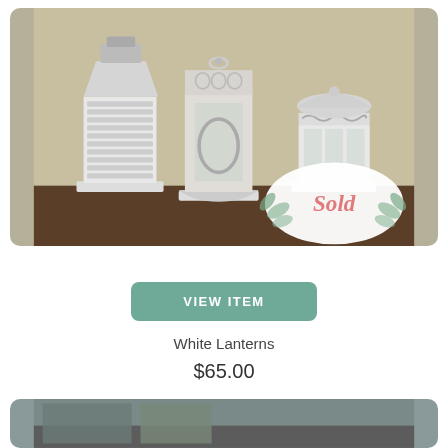[Figure (photo): Three white decorative lanterns of different styles and sizes displayed on a dark wooden surface. A 'Sold' sticker with eucalyptus leaf design is overlaid on the bottom right of the image.]
VIEW ITEM
White Lanterns
$65.00
[Figure (photo): Partial view of another product image at the bottom of the page, cropped.]